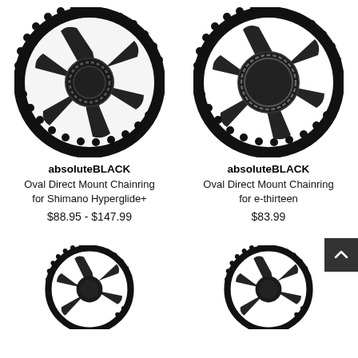[Figure (photo): absoluteBLACK Oval Direct Mount Chainring for Shimano Hyperglide+ - black oval chainring product photo]
absoluteBLACK
Oval Direct Mount Chainring for Shimano Hyperglide+
$88.95 - $147.99
[Figure (photo): absoluteBLACK Oval Direct Mount Chainring for e-thirteen - black oval chainring product photo]
absoluteBLACK
Oval Direct Mount Chainring for e-thirteen
$83.99
[Figure (photo): Partial view of a black oval chainring product (bottom left)]
[Figure (photo): Partial view of a black oval chainring product (bottom right)]